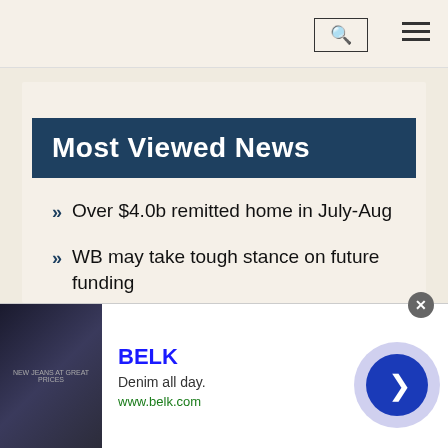Navigation bar with search and menu icons
Most Viewed News
Over $4.0b remitted home in July-Aug
WB may take tough stance on future funding
Sri Lanka keen to lure BD investors
Tariff Commission compiling data to recommend MRP